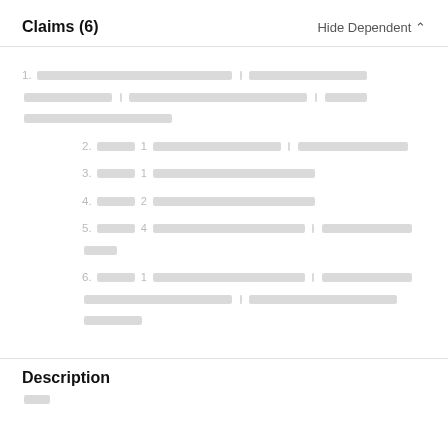Claims (6)
Hide Dependent ^
1. [redacted claim text - independent claim]
2. Claim 1 [redacted claim text - dependent claim]
3. Claim 1 [redacted claim text - dependent claim]
4. Claim 2 [redacted claim text - dependent claim]
5. Claim 4 [redacted claim text - dependent claim]
6. Claim 1 [redacted claim text - dependent claim]
Description
[redacted description text]